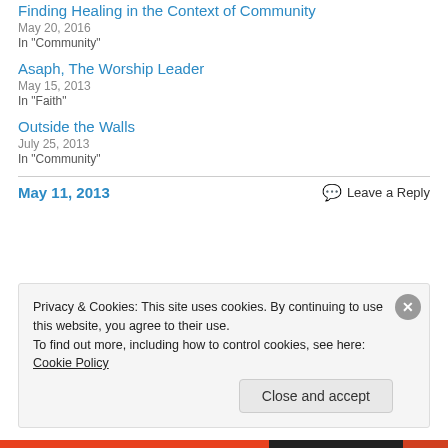Finding Healing in the Context of Community
May 20, 2016
In "Community"
Asaph, The Worship Leader
May 15, 2013
In "Faith"
Outside the Walls
July 25, 2013
In "Community"
May 11, 2013
Leave a Reply
Privacy & Cookies: This site uses cookies. By continuing to use this website, you agree to their use. To find out more, including how to control cookies, see here: Cookie Policy
Close and accept